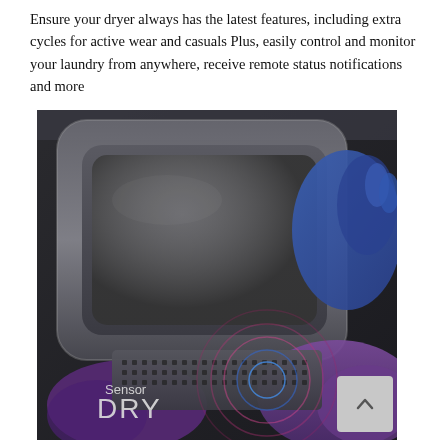Ensure your dryer always has the latest features, including extra cycles for active wear and casuals Plus, easily control and monitor your laundry from anywhere, receive remote status notifications and more
[Figure (photo): Close-up photo of a dryer drum interior with a gloved hand touching the front panel. Text overlay reads 'Sensor DRY' with decorative circular sensor graphic lines in blue and pink.]